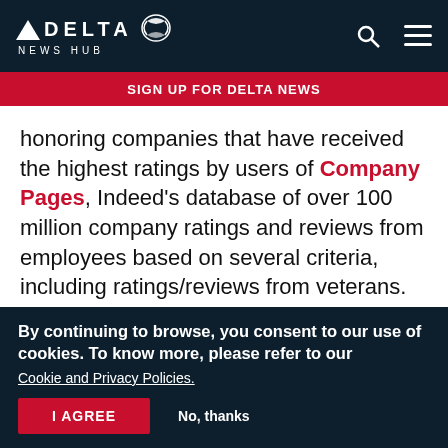DELTA NEWS HUB
SIGN UP FOR DELTA NEWS
honoring companies that have received the highest ratings by users of Company Pages, Indeed's database of over 100 million company ratings and reviews from employees based on several criteria, including ratings/reviews from veterans.
[Figure (photo): Orange/amber colored decorative image, partial view]
By continuing to browse, you consent to our use of cookies. To know more, please refer to our Cookie and Privacy Policies.
I AGREE   No, thanks